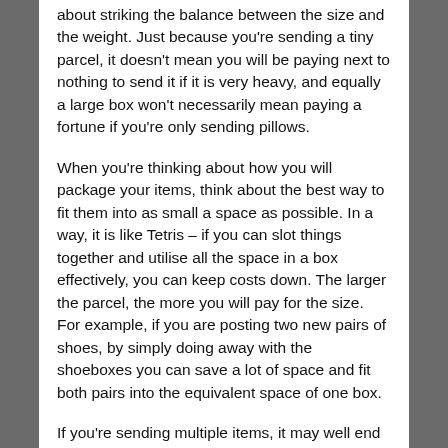about striking the balance between the size and the weight. Just because you're sending a tiny parcel, it doesn't mean you will be paying next to nothing to send it if it is very heavy, and equally a large box won't necessarily mean paying a fortune if you're only sending pillows.
When you're thinking about how you will package your items, think about the best way to fit them into as small a space as possible. In a way, it is like Tetris – if you can slot things together and utilise all the space in a box effectively, you can keep costs down. The larger the parcel, the more you will pay for the size. For example, if you are posting two new pairs of shoes, by simply doing away with the shoeboxes you can save a lot of space and fit both pairs into the equivalent space of one box.
If you're sending multiple items, it may well end up costing less to send your items in separate small boxes, as very large boxes will come with a premium postage cost to match as they are difficult to transport and deliver. Lots of small items may require a massive box to send in one